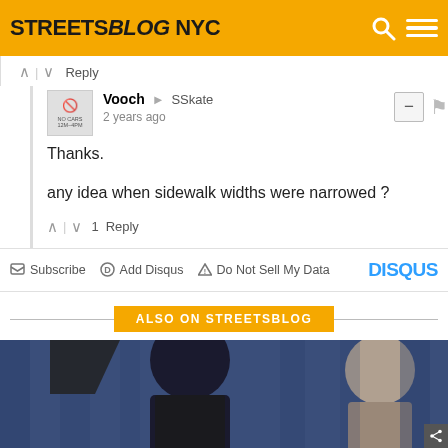STREETSBLOG NYC
↑ | ↓  Reply
Vooch → SSkate
2 years ago
Thanks.

any idea when sidewalk widths were narrowed ?
↑ | ↓ 1  Reply
✉ Subscribe   D Add Disqus   ▲ Do Not Sell My Data   DISQUS
ALSO ON STREETSBLOG
[Figure (photo): Press conference photo with people at podium in front of blue curtains/drapes]